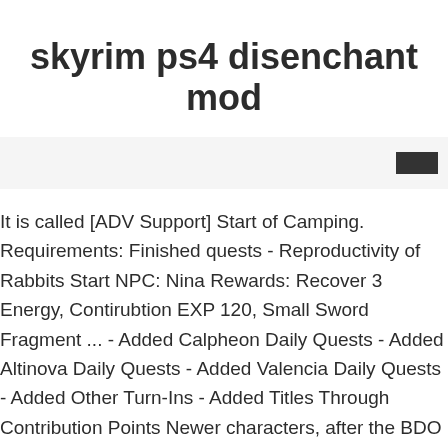skyrim ps4 disenchant mod
It is called [ADV Support] Start of Camping. Requirements: Finished quests - Reproductivity of Rabbits Start NPC: Nina Rewards: Recover 3 Energy, Contirubtion EXP 120, Small Sword Fragment ... - Added Calpheon Daily Quests - Added Altinova Daily Quests - Added Valencia Daily Quests - Added Other Turn-Ins - Added Titles Through Contribution Points Newer characters, after the BDO quest reworks, may see Calpheon main story categories of âDisappearance of Nellaâ and âThe Qualities of a Godâ. Rations from the